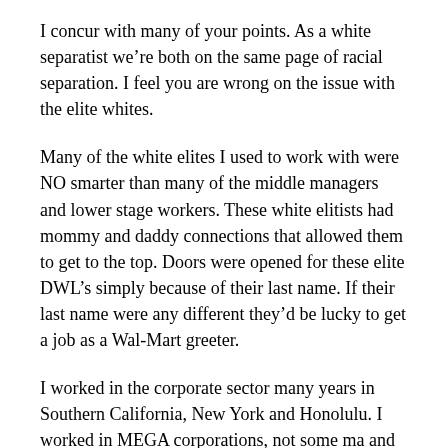I concur with many of your points. As a white separatist we’re both on the same page of racial separation. I feel you are wrong on the issue with the elite whites.
Many of the white elites I used to work with were NO smarter than many of the middle managers and lower stage workers. These white elitists had mommy and daddy connections that allowed them to get to the top. Doors were opened for these elite DWL’s simply because of their last name. If their last name were any different they’d be lucky to get a job as a Wal-Mart greeter.
I worked in the corporate sector many years in Southern California, New York and Honolulu. I worked in MEGA corporations, not some ma and pa store. As someone who worked in HR/Payroll I had to interact with these elite DWL’s on a daily basis.
Most of them were a joke. They were some of the most maladjusted mentally ill suckups I’d ever seen in my life. Many